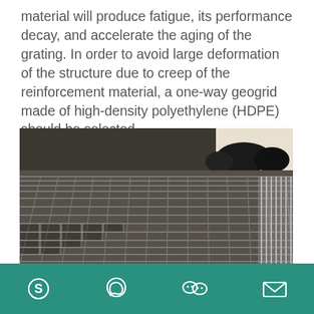material will produce fatigue, its performance decay, and accelerate the aging of the grating. In order to avoid large deformation of the structure due to creep of the reinforcement material, a one-way geogrid made of high-density polyethylene (HDPE) should be selected.
[Figure (photo): Close-up photograph of a rolled HDPE one-way geogrid material showing its mesh structure with rectangular grid cells, viewed at an angle on a flat surface with rolls of the material in the background.]
Social media / contact icons: Skype, WhatsApp, WeChat, Email